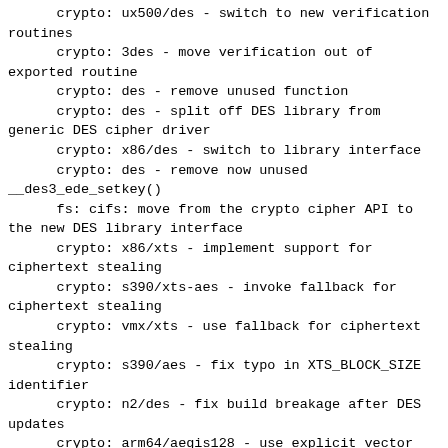crypto: ux500/des - switch to new verification routines
      crypto: 3des - move verification out of exported routine
      crypto: des - remove unused function
      crypto: des - split off DES library from generic DES cipher driver
      crypto: x86/des - switch to library interface
      crypto: des - remove now unused __des3_ede_setkey()
      fs: cifs: move from the crypto cipher API to the new DES library interface
      crypto: x86/xts - implement support for ciphertext stealing
      crypto: s390/xts-aes - invoke fallback for ciphertext stealing
      crypto: vmx/xts - use fallback for ciphertext stealing
      crypto: s390/aes - fix typo in XTS_BLOCK_SIZE identifier
      crypto: n2/des - fix build breakage after DES updates
      crypto: arm64/aegis128 - use explicit vector load for permute vectors
      crypto: essiv - add tests for essiv in cbc(aes)+sha256 mode
      crypto: arm64/aes-cts-cbc - factor out CBC en/decryption of a walk
      crypto: arm64/aes - implement accelerated ESSIV/CBC mode